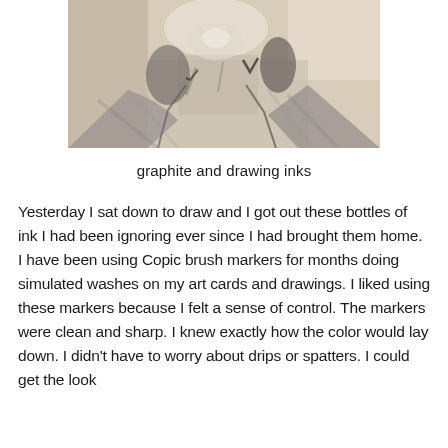[Figure (illustration): A pencil and ink drawing of a person's face and neck, rendered in graphite and sepia/brown drawing inks. The portrait shows lower portion of face with chin, neck, and shoulders, done in loose wash style with varying tones of gray and warm brown.]
graphite and drawing inks
Yesterday I sat down to draw and I got out these bottles of ink I had been ignoring ever since I had brought them home. I have been using Copic brush markers for months doing simulated washes on my art cards and drawings. I liked using these markers because I felt a sense of control. The markers were clean and sharp. I knew exactly how the color would lay down. I didn't have to worry about drips or spatters. I could get the look